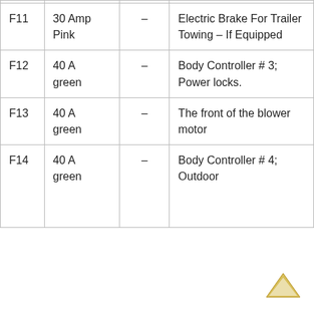| Fuse | Rating/Color | Protection | Circuit |
| --- | --- | --- | --- |
| F11 | 30 Amp Pink | – | Electric Brake For Trailer Towing – If Equipped |
| F12 | 40 A green | – | Body Controller # 3;
Power locks. |
| F13 | 40 A green | – | The front of the blower motor |
| F14 | 40 A green | – | Body Controller # 4;
Outdoor |